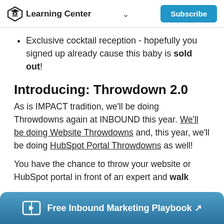Learning Center  ∨  Subscribe
Exclusive cocktail reception - hopefully you signed up already cause this baby is sold out!
Introducing: Throwdown 2.0
As is IMPACT tradition, we'll be doing Throwdowns again at INBOUND this year. We'll be doing Website Throwdowns and, this year, we'll be doing HubSpot Portal Throwdowns as well!
You have the chance to throw your website or HubSpot portal in front of an expert and walk
Free Inbound Marketing Playbook ↗